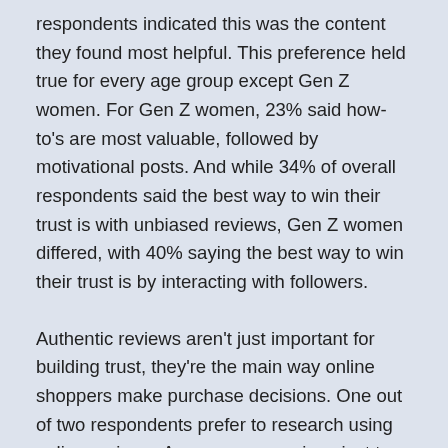respondents indicated this was the content they found most helpful. This preference held true for every age group except Gen Z women. For Gen Z women, 23% said how-to's are most valuable, followed by motivational posts. And while 34% of overall respondents said the best way to win their trust is with unbiased reviews, Gen Z women differed, with 40% saying the best way to win their trust is by interacting with followers.
Authentic reviews aren't just important for building trust, they're the main way online shoppers make purchase decisions. One out of two respondents prefer to research using online reviews. As more companies pivot to exclusively digital sales channels, reviews are taking the place of touching and feeling a product before purchasing. Consumers